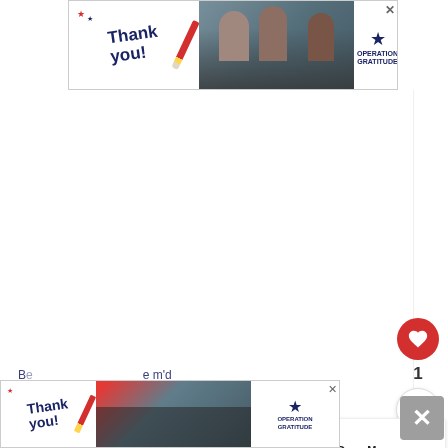[Figure (other): Thank You / Operation Gratitude advertisement banner at top of page, showing a handwritten 'Thank you!' text with a red and blue pencil graphic, photo of military personnel, and Operation Gratitude logo]
[Figure (other): Large white empty content area, main body of a webpage article]
[Figure (other): Red circular like/heart button with white heart icon, count of 1 below it, and a share button below that]
Platinum Trim Level Added
[Figure (other): 'WHAT'S NEXT' sidebar box showing a thumbnail and the text 'Why Does My Car Smell Li...']
[Figure (other): Thank You / Operation Gratitude advertisement banner at bottom of page, similar to top banner]
[Figure (other): Grey X close button at bottom right]
Be                                              e m'd